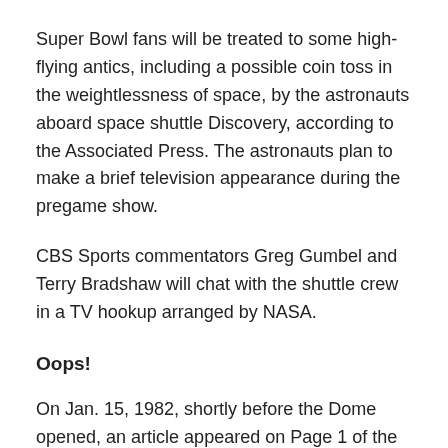Super Bowl fans will be treated to some high-flying antics, including a possible coin toss in the weightlessness of space, by the astronauts aboard space shuttle Discovery, according to the Associated Press. The astronauts plan to make a brief television appearance during the pregame show.
CBS Sports commentators Greg Gumbel and Terry Bradshaw will chat with the shuttle crew in a TV hookup arranged by NASA.
Oops!
On Jan. 15, 1982, shortly before the Dome opened, an article appeared on Page 1 of the sports section in the now-defunct Minneapolis Star. It began: “If you think the Jan. 24 Super Bowl in chilly Pontiac, Mich., means that